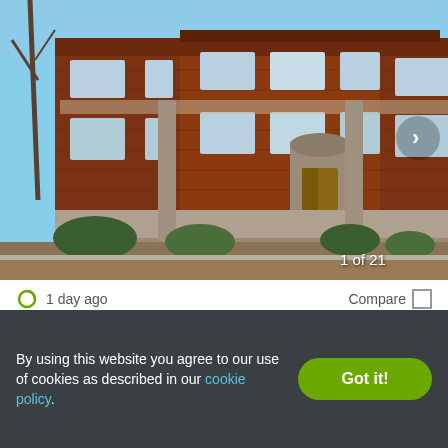[Figure (photo): Exterior photo of Edanola Apartments, a multi-story brick building with arched entryway and landscaping. Shows '1 of 21' counter in bottom right.]
1 day ago
Compare
Edanola Apartments
1322 Edanola Ave, Lakewood, OH 44107
✓ Available
✓ Verified
Studio    1 BED    2 BEDS
By using this website you agree to our use of cookies as described in our cookie policy.